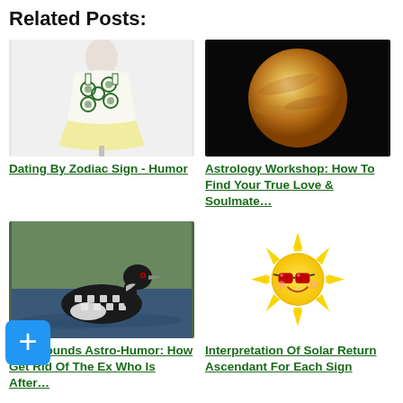Related Posts:
[Figure (photo): A white mannequin wearing a sleeveless dress with a green circular pattern print on white fabric with yellow hem]
Dating By Zodiac Sign - Humor
[Figure (photo): Close-up photograph of Venus planet showing orange/golden surface texture against black background]
Astrology Workshop: How To Find Your True Love & Soulmate…
[Figure (photo): A common loon bird swimming on water with black and white checkered plumage]
Loonsounds Astro-Humor: How Get Rid Of The Ex Who Is After…
[Figure (illustration): Cartoon sun emoji with yellow rays, wearing red sunglasses and smiling on white background]
Interpretation Of Solar Return Ascendant For Each Sign